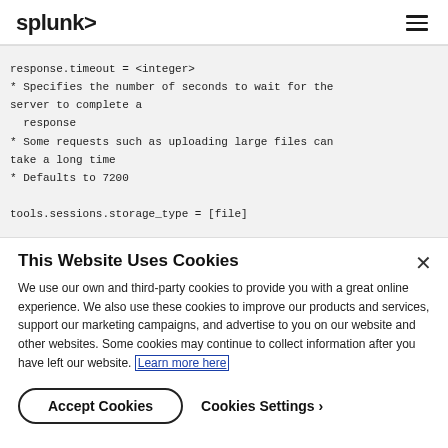splunk>
response.timeout = <integer>
* Specifies the number of seconds to wait for the server to complete a
  response
* Some requests such as uploading large files can take a long time
* Defaults to 7200

tools.sessions.storage_type = [file]
This Website Uses Cookies
We use our own and third-party cookies to provide you with a great online experience. We also use these cookies to improve our products and services, support our marketing campaigns, and advertise to you on our website and other websites. Some cookies may continue to collect information after you have left our website. Learn more here
Accept Cookies
Cookies Settings ›